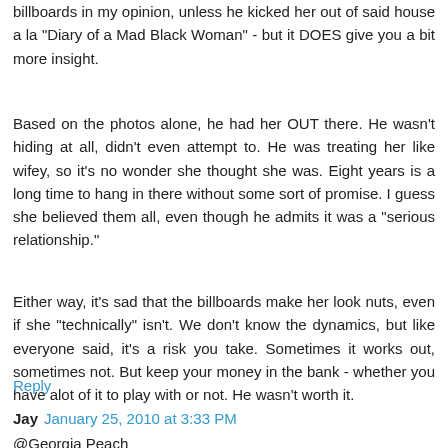billboards in my opinion, unless he kicked her out of said house a la "Diary of a Mad Black Woman" - but it DOES give you a bit more insight.
Based on the photos alone, he had her OUT there. He wasn't hiding at all, didn't even attempt to. He was treating her like wifey, so it's no wonder she thought she was. Eight years is a long time to hang in there without some sort of promise. I guess she believed them all, even though he admits it was a "serious relationship."
Either way, it's sad that the billboards make her look nuts, even if she "technically" isn't. We don't know the dynamics, but like everyone said, it's a risk you take. Sometimes it works out, sometimes not. But keep your money in the bank - whether you have alot of it to play with or not. He wasn't worth it.
Reply
Jay  January 25, 2010 at 3:33 PM
@Georgia Peach